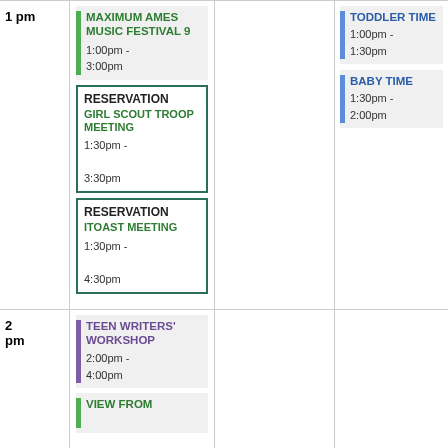1 pm
MAXIMUM AMES MUSIC FESTIVAL 9
1:00pm - 3:00pm
RESERVATION
GIRL SCOUT TROOP MEETING
1:30pm - 3:30pm
RESERVATION
ITOAST MEETING
1:30pm - 4:30pm
TODDLER TIME
1:00pm - 1:30pm
BABY TIME
1:30pm - 2:00pm
2 pm
TEEN WRITERS' WORKSHOP
2:00pm - 4:00pm
VIEW FROM